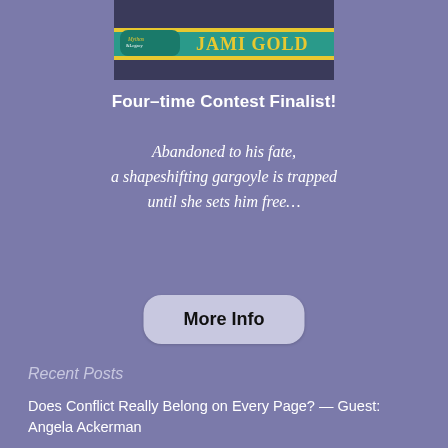[Figure (logo): Mythos & Legacy banner with Jami Gold text on teal and yellow background with a dark figure in background]
Four-time Contest Finalist!
Abandoned to his fate, a shapeshifting gargoyle is trapped until she sets him free…
More Info
Recent Posts
Does Conflict Really Belong on Every Page? — Guest: Angela Ackerman
How Can We Improve Our Writing? — Guest: Wendy Sparrow
12th Annual Blogiversary Contest — Prize: Me! Wait...er.